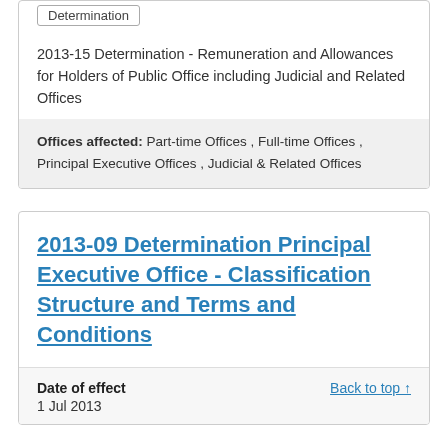Determination
2013-15 Determination - Remuneration and Allowances for Holders of Public Office including Judicial and Related Offices
Offices affected: Part-time Offices , Full-time Offices , Principal Executive Offices , Judicial & Related Offices
2013-09 Determination Principal Executive Office - Classification Structure and Terms and Conditions
Date of effect
1 Jul 2013
Back to top ↑